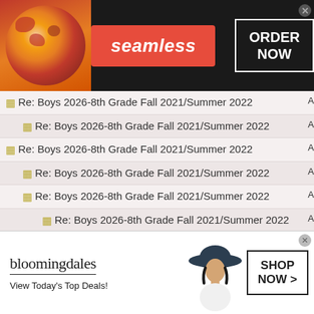[Figure (screenshot): Seamless food delivery advertisement banner with pizza image, seamless logo in red, and ORDER NOW button]
Re: Boys 2026-8th Grade Fall 2021/Summer 2022
Re: Boys 2026-8th Grade Fall 2021/Summer 2022
Re: Boys 2026-8th Grade Fall 2021/Summer 2022
Re: Boys 2026-8th Grade Fall 2021/Summer 2022
Re: Boys 2026-8th Grade Fall 2021/Summer 2022
Re: Boys 2026-8th Grade Fall 2021/Summer 2022
Re: Boys 2026-8th Grade Fall 2021/Summer 2022
Re: Boys 2026-8th Grade Fall 2021/Summer 2022
Re: Boys 2026-8th Grade Fall 2021/Summer 2022
[Figure (screenshot): Bloomingdales advertisement banner with logo, View Today's Top Deals tagline, woman with hat, and SHOP NOW button]